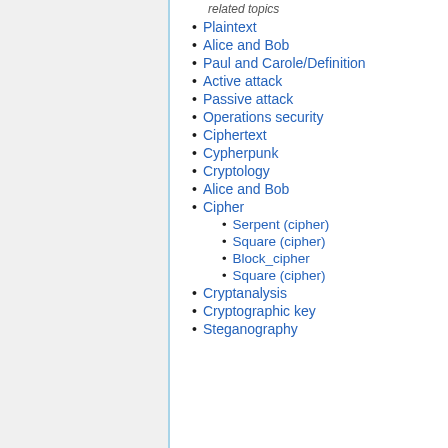related topics
Plaintext
Alice and Bob
Paul and Carole/Definition
Active attack
Passive attack
Operations security
Ciphertext
Cypherpunk
Cryptology
Alice and Bob
Cipher
Serpent (cipher)
Square (cipher)
Block_cipher
Square (cipher)
Cryptanalysis
Cryptographic key
Steganography